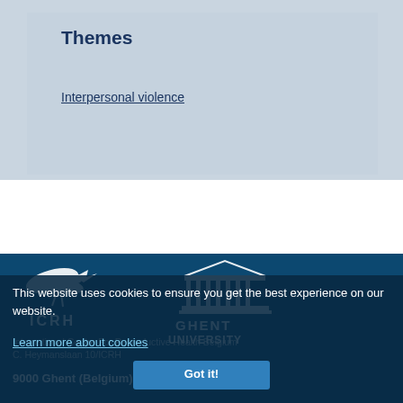Themes
Interpersonal violence
[Figure (logo): ICRH logo — white stylized figure/bird on dark blue background with text 'ICRH' below]
[Figure (logo): Ghent University logo — white classical building/temple icon with text 'GHENT UNIVERSITY' below]
This website uses cookies to ensure you get the best experience on our website.
Learn more about cookies
Got it!
International Centre For Reproductive Health Belgium
C. Heymanslaan 10/ICRH
9000 Ghent (Belgium)